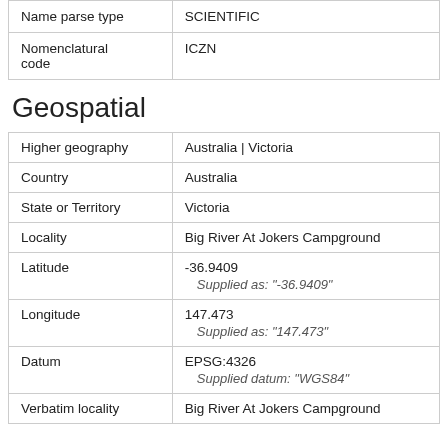|  |  |
| --- | --- |
| Name parse type | SCIENTIFIC |
| Nomenclatural code | ICZN |
Geospatial
|  |  |
| --- | --- |
| Higher geography | Australia | Victoria |
| Country | Australia |
| State or Territory | Victoria |
| Locality | Big River At Jokers Campground |
| Latitude | -36.9409
Supplied as: "-36.9409" |
| Longitude | 147.473
Supplied as: "147.473" |
| Datum | EPSG:4326
Supplied datum: "WGS84" |
| Verbatim locality | Big River At Jokers Campground |